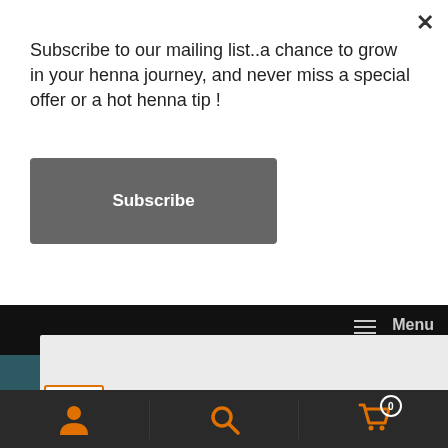Subscribe to our mailing list..a chance to grow in your henna journey, and never miss a special offer or a hot henna tip !
Subscribe
Menu
SALE!
ⓘ 10 % off when you sign up to the Newsletter ! Enter your e mail address in the sign up link towards the bottom of this page & remember to click the opt in link in the confirmation e mail (check junk mail).
Dismiss
[Figure (screenshot): Bottom navigation toolbar with user icon, search icon, and cart icon with badge showing 0]